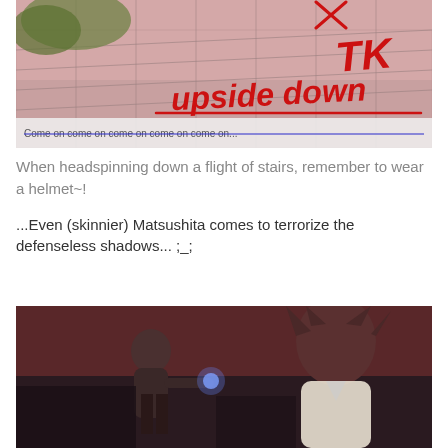[Figure (screenshot): Anime screenshot with red handwritten text overlaid: 'TK upside down' and subtitle text 'Come on come on come on come on come on...' at the bottom]
When headspinning down a flight of stairs, remember to wear a helmet~!
...Even (skinnier) Matsushita comes to terrorize the defenseless shadows... ;_;
[Figure (screenshot): Dark anime screenshot showing two characters facing each other in a dramatic scene]